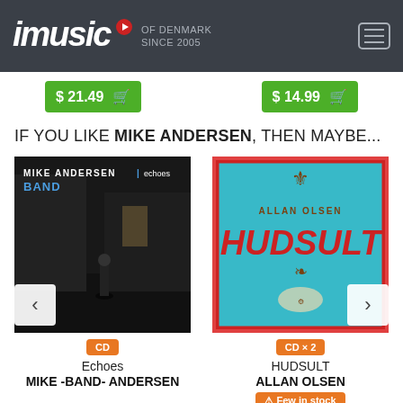imusic OF DENMARK SINCE 2005
$ 21.49  $ 14.99
IF YOU LIKE MIKE ANDERSEN, THEN MAYBE...
[Figure (photo): Album cover: Mike Andersen Echoes Band - black and white photo of person walking on dark street]
[Figure (photo): Album cover: Allan Olsen Hudsult - colorful teal background with red text and ornate brown decorations]
CD
Echoes
MIKE -BAND- ANDERSEN
CD x 2
HUDSULT
ALLAN OLSEN
Few in stock